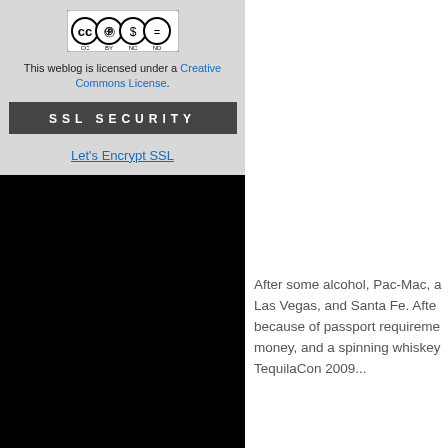[Figure (logo): Creative Commons CC BY NC ND license badge]
This weblog is licensed under a Creative Commons License.
SSL SECURITY
Let's Encrypt SSL
After some alcohol, Pac-Mac, a Las Vegas, and Santa Fe. After because of passport requireme money, and a spinning whiskey TequilaCon 2009...